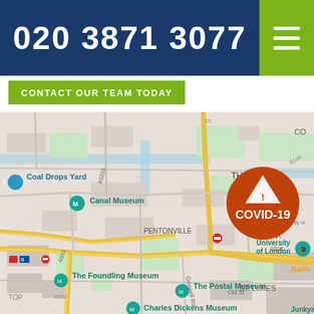020 3871 3077
CONTACT OUR TEAM TODAY
[Figure (map): Google Maps screenshot showing central London area including The Angel, Pentonville, Coal Drops Yard, Canal Museum, City University of London, The Foundling Museum, The Postal Museum, Charles Dickens Museum, and St. Luke's. Major roads including A501, A203 visible. A COVID-19 warning badge (orange circle) overlaid on the map near The Angel area.]